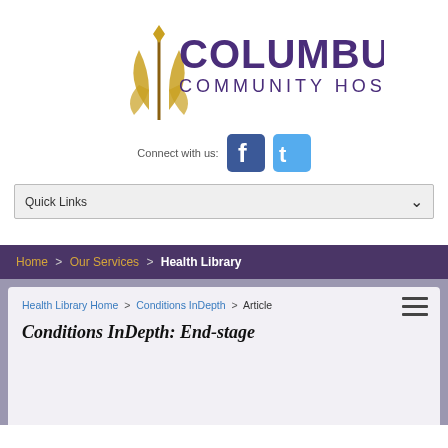[Figure (logo): Columbus Community Hospital logo with gold decorative symbol and purple text reading COLUMBUS COMMUNITY HOSPITAL]
[Figure (infographic): Connect with us: Facebook and Twitter social media icons]
Quick Links
Home > Our Services > Health Library
Health Library Home > Conditions InDepth > Article
Conditions InDepth: End-stage